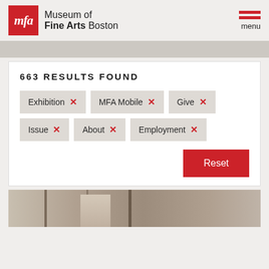Museum of Fine Arts Boston — menu
663 RESULTS FOUND
Exhibition ×
MFA Mobile ×
Give ×
Issue ×
About ×
Employment ×
Reset
[Figure (photo): Partial view of a museum interior photograph showing architectural elements and a figure, cropped at the bottom of the page]